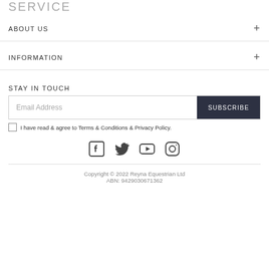SERVICE
ABOUT US
INFORMATION
STAY IN TOUCH
Email Address | SUBSCRIBE
I have read & agree to Terms & Conditions & Privacy Policy.
[Figure (other): Social media icons: Facebook, Twitter, YouTube, Instagram]
Copyright © 2022 Reyna Equestrian Ltd
ABN: 9429030671362